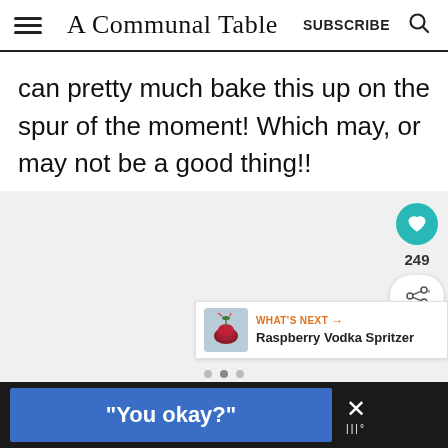A Communal Table | SUBSCRIBE
can pretty much bake this up on the spur of the moment! Which may, or may not be a good thing!!
[Figure (screenshot): Content area with heart/like button (teal circle) showing 249 saves, a share button, a 'What's Next' card showing Raspberry Vodka Spritzer, and dot pagination indicators]
[Figure (screenshot): Black advertisement bar at bottom with blue box containing text: "You okay?" and close button with X]